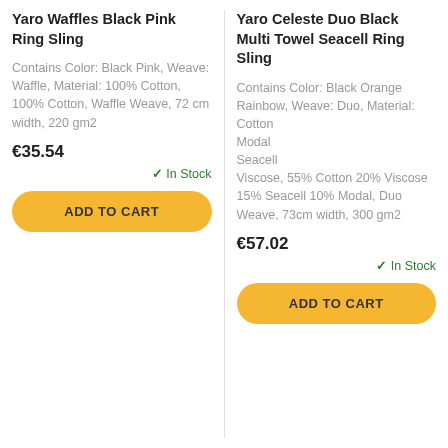Yaro Waffles Black Pink Ring Sling
Contains Color: Black Pink, Weave: Waffle, Material: 100% Cotton, 100% Cotton, Waffle Weave, 72 cm width, 220 gm2
€35.54
In Stock
ADD TO CART
Yaro Celeste Duo Black Multi Towel Seacell Ring Sling
Contains Color: Black Orange Rainbow, Weave: Duo, Material: Cotton Modal Seacell Viscose, 55% Cotton 20% Viscose 15% Seacell 10% Modal, Duo Weave, 73cm width, 300 gm2
€57.02
In Stock
ADD TO CART